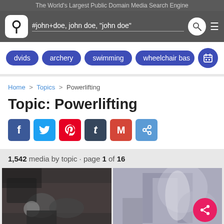The World's Largest Public Domain Media Search Engine
#john+doe, john doe, "john doe"
dvids · archery · swimming · wheelchair bas
Home > Topics > Powerlifting
Topic: Powerlifting
1,542 media by topic · page 1 of 16
[Figure (photo): Two photos: left shows people near a truck doing powerlifting outdoors; right shows a man in a gym wearing a weight belt.]